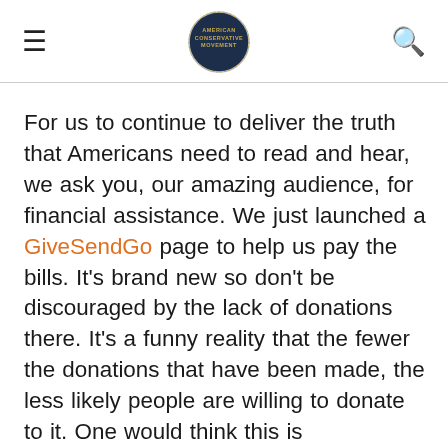≡  [AMERICAN CONSERVATIVE MOVEMENT logo]  🔍
For us to continue to deliver the truth that Americans need to read and hear, we ask you, our amazing audience, for financial assistance. We just launched a GiveSendGo page to help us pay the bills. It's brand new so don't be discouraged by the lack of donations there. It's a funny reality that the fewer the donations that have been made, the less likely people are willing to donate to it. One would think this is counterintuitive, but sometimes people are skeptical because they think that perhaps there's a reason others haven't been donating. In our situation, we're just